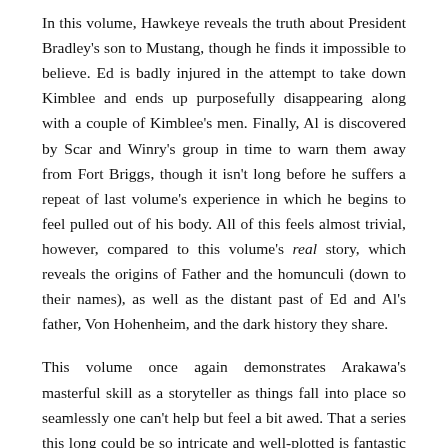In this volume, Hawkeye reveals the truth about President Bradley's son to Mustang, though he finds it impossible to believe. Ed is badly injured in the attempt to take down Kimblee and ends up purposefully disappearing along with a couple of Kimblee's men. Finally, Al is discovered by Scar and Winry's group in time to warn them away from Fort Briggs, though it isn't long before he suffers a repeat of last volume's experience in which he begins to feel pulled out of his body. All of this feels almost trivial, however, compared to this volume's real story, which reveals the origins of Father and the homunculi (down to their names), as well as the distant past of Ed and Al's father, Von Hohenheim, and the dark history they share.
This volume once again demonstrates Arakawa's masterful skill as a storyteller as things fall into place so seamlessly one can't help but feel a bit awed. That a series this long could be so intricate and well-plotted is fantastic enough, but Arakawa consistently raises the stakes for her characters in rather shockingly believable ways, creating a